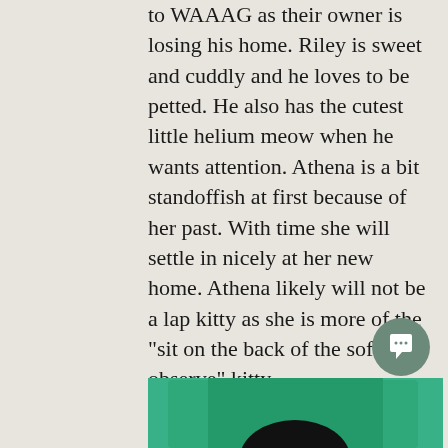to WAAAG as their owner is losing his home. Riley is sweet and cuddly and he loves to be petted. He also has the cutest little helium meow when he wants attention. Athena is a bit standoffish at first because of her past. With time she will settle in nicely at her new home. Athena likely will not be a lap kitty as she is more of the "sit on the back of the sofa and observe" kitty.
As you might imagine, Athena and Riley are very bonded to each other and will need to stay together. Both are good with other cats and dogs, spayed/neutered, microchipped and up to date on their vaccines. And they both have impeccable litter box skills. Please email us at adopt@waaag.org if you would like to meet Riley and Athena.
[Figure (photo): Partial photo of a cat in a green cat bed or carrier, with dark fur visible at the bottom center]